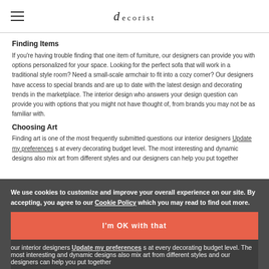decorist
Finding Items
If you're having trouble finding that one item of furniture, our designers can provide you with options personalized for your space. Looking for the perfect sofa that will work in a traditional style room? Need a small-scale armchair to fit into a cozy corner? Our designers have access to special brands and are up to date with the latest design and decorating trends in the marketplace. The interior design who answers your design question can provide you with options that you might not have thought of, from brands you may not be as familiar with.
Choosing Art
Finding art is one of the most frequently submitted questions our interior designers Update my preferences s at every decorating budget level. The most interesting and dynamic designs also mix art from different styles and our designers can help you put together
We use cookies to customize and improve your overall experience on our site. By accepting, you agree to our Cookie Policy which you may read to find out more.
I'm OK with that
Update my preferences